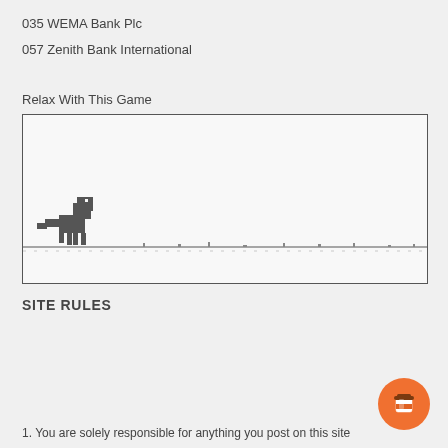035 WEMA Bank Plc
057 Zenith Bank International
Relax With This Game
[Figure (illustration): Google Chrome dinosaur game screenshot showing a pixel-art T-Rex on a ground line with small obstacles, inside a bordered rectangle.]
SITE RULES
1. You are solely responsible for anything you post on this site